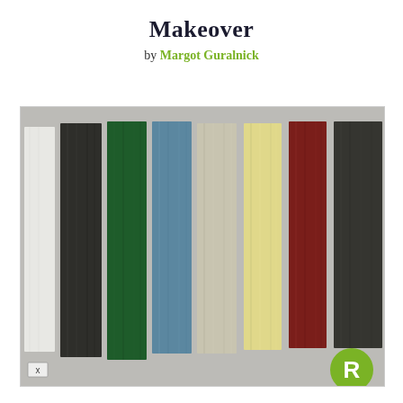Makeover
by Margot Guralnick
[Figure (photo): A row of painted and stained wood strips in various colors: white, dark charcoal, dark green, steel blue, light gray/beige, pale yellow, dark red/burgundy, dark charcoal, laid flat against a gray concrete background. A green circular badge with the letter R appears in the lower right corner, and a small X box appears in the lower left corner.]